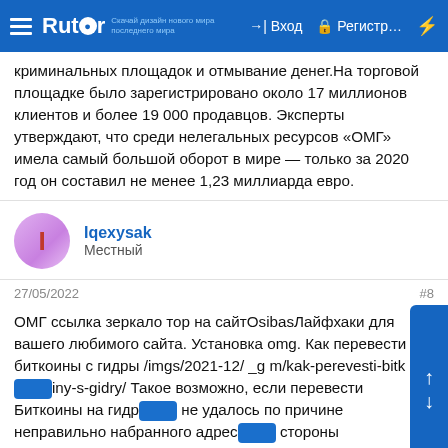Rutor — Вход — Регистр...
криминальных площадок и отмывание денег.На торговой площадке было зарегистрировано около 17 миллионов клиентов и более 19 000 продавцов. Эксперты утверждают, что среди нелегальных ресурсов «ОМГ» имела самый большой оборот в мире — только за 2020 год он составил не менее 1,23 миллиарда евро.
Iqexysak
Местный
27/05/2022
#8
ОМГ ссылка зеркало тор на сайтOsibasЛайфхаки для вашего любимого сайта. Установка omg. Как перевести биткоины с гидры /imgs/2021-12/ _g m/kak-perevesti-bitcoiny-s-gidry/ Такое возможно, если перевести Биткоины на гидру не удалось по причине неправильно набранного адреса со стороны пользователя. Zerkala omg /imgs/2021-12/ _g